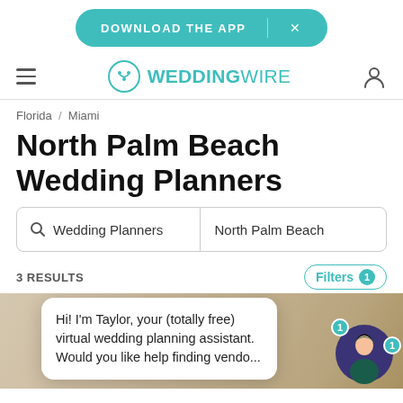[Figure (screenshot): WeddingWire app download banner button in teal with text DOWNLOAD THE APP and an X close button]
WEDDINGWIRE
Florida / Miami
North Palm Beach Wedding Planners
Wedding Planners | North Palm Beach
3 RESULTS
Hi! I'm Taylor, your (totally free) virtual wedding planning assistant. Would you like help finding vendo...